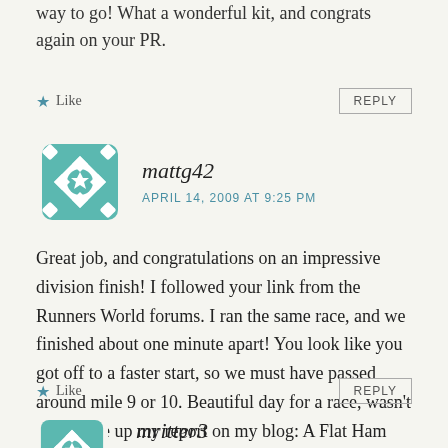way to go! What a wonderful kit, and congrats again on your PR.
★ Like
REPLY
mattg42
APRIL 14, 2009 AT 9:25 PM
Great job, and congratulations on an impressive division finish! I followed your link from the Runners World forums. I ran the same race, and we finished about one minute apart! You look like you got off to a faster start, so we must have passed around mile 9 or 10. Beautiful day for a race, wasn't it? I wrote up my report on my blog: A Flat Ham Horn.
★ Like
REPLY
mritter3